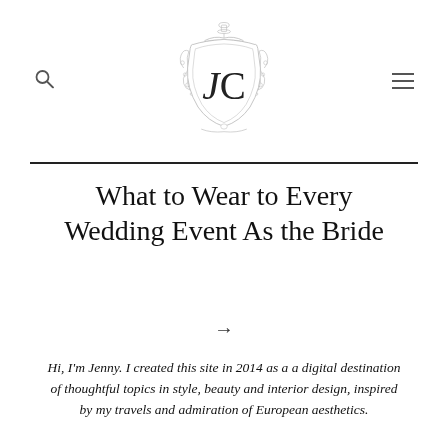[Figure (logo): Decorative crest/monogram logo with ornate baroque border, urn finial at top, floral swags on sides, and the letters JC in the center]
What to Wear to Every Wedding Event As the Bride
→
Hi, I'm Jenny. I created this site in 2014 as a a digital destination of thoughtful topics in style, beauty and interior design, inspired by my travels and admiration of European aesthetics.